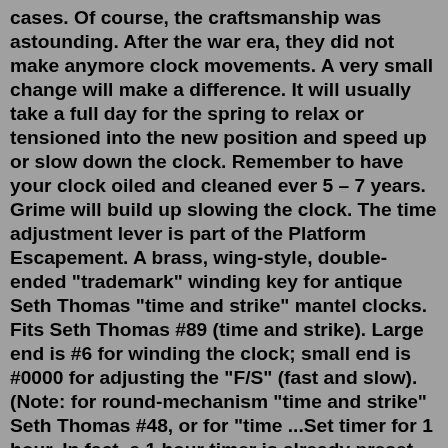cases. Of course, the craftsmanship was astounding. After the war era, they did not make anymore clock movements. A very small change will make a difference. It will usually take a full day for the spring to relax or tensioned into the new position and speed up or slow down the clock. Remember to have your clock oiled and cleaned ever 5 – 7 years. Grime will build up slowing the clock. The time adjustment lever is part of the Platform Escapement. A brass, wing-style, double-ended "trademark" winding key for antique Seth Thomas "time and strike" mantel clocks. Fits Seth Thomas #89 (time and strike). Large end is #6 for winding the clock; small end is #0000 for adjusting the "F/S" (fast and slow). (Note: for round-mechanism "time and strike" Seth Thomas #48, or for "time ...Set timer for 1 hour. In fact, a 1 hour timer is already preset on this page. You can enter a personal message for the timer alarm if you want to. For instance, you could enter the message: "wake me up in 1 hour".Bid on Seth Thomas Rex mantel clock sold at auction by Schmitt Horan & Co. 939 on 12th